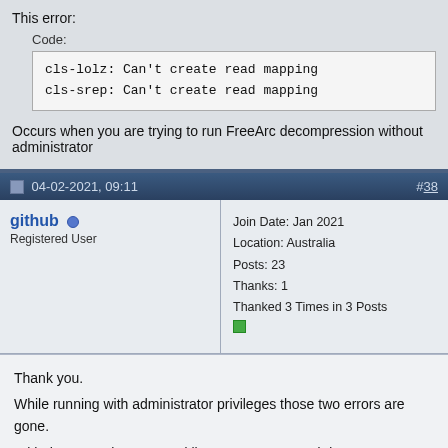This error:
Code:
cls-lolz: Can't create read mapping
cls-srep: Can't create read mapping
Occurs when you are trying to run FreeArc decompression without administrator
04-02-2021, 09:11   #38
github
Registered User
Join Date: Jan 2021
Location: Australia
Posts: 23
Thanks: 1
Thanked 3 Times in 3 Posts
Thank you.
While running with administrator privileges those two errors are gone.
With the example command line to compress and decomperss works.

The next question is , what confused me for the last time, is
if I disable cls-lolz.dll and declare the method in arc_u\arc.ini:
Quote:
[External compressor:lolz]